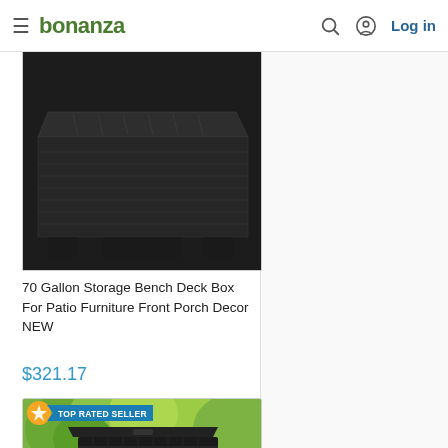bonanza | Log in
[Figure (photo): Dark gray/black plastic storage bench deck box, partially cropped, showing top and sides]
70 Gallon Storage Bench Deck Box For Patio Furniture Front Porch Decor NEW
$321.17
[Figure (photo): Wicker-style black outdoor storage deck box on grass with garden greenery background. TOP RATED SELLER badge shown in upper left corner.]